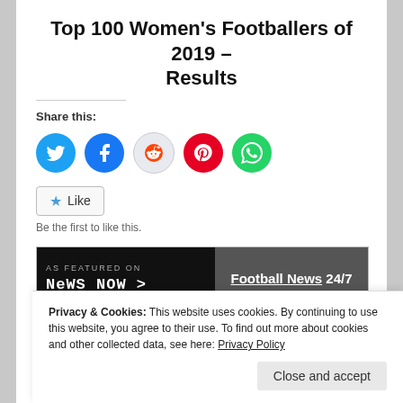Top 100 Women's Footballers of 2019 – Results
Share this:
[Figure (other): Social share buttons: Twitter (blue), Facebook (blue), Reddit (light grey), Pinterest (red), WhatsApp (green)]
[Figure (other): Like button with star icon and text 'Like'. Below: 'Be the first to like this.']
[Figure (other): News Now banner: black left side with 'AS FEATURED ON' and 'NEWS NOW >' logo; dark grey right side with 'Football News 24/7' text]
Privacy & Cookies: This website uses cookies. By continuing to use this website, you agree to their use. To find out more about cookies and other collected data, see here: Privacy Policy
Close and accept